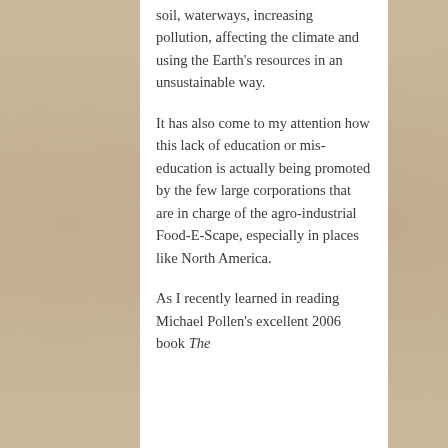soil, waterways, increasing pollution, affecting the climate and using the Earth's resources in an unsustainable way.
It has also come to my attention how this lack of education or mis-education is actually being promoted by the few large corporations that are in charge of the agro-industrial Food-E-Scape, especially in places like North America.
As I recently learned in reading Michael Pollen's excellent 2006 book The